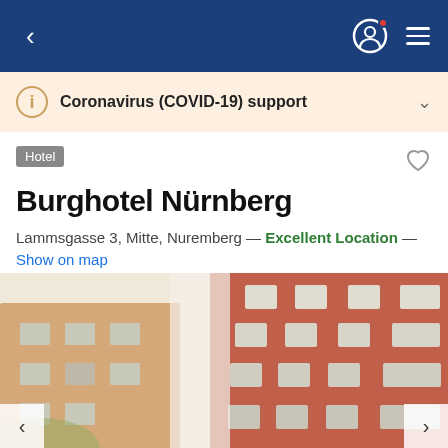[Figure (screenshot): Blue navigation bar with back arrow, user account icon with red dot, and hamburger menu on blue background]
Coronavirus (COVID-19) support
Hotel
Burghotel Nürnberg
Lammsgasse 3, Mitte, Nuremberg — Excellent Location — Show on map
8.5  Very Good · 562 reviews
[Figure (photo): Exterior photo of Burghotel Nürnberg showing multi-story terracotta/orange building facades with windows, street level view looking upward]